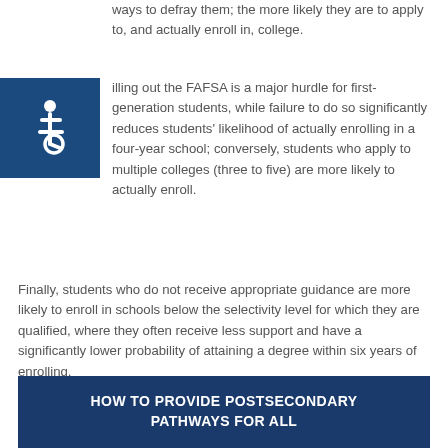ways to defray them; the more likely they are to apply to, and actually enroll in, college.
[Figure (illustration): Accessibility icon — white wheelchair symbol on dark blue square background]
Filling out the FAFSA is a major hurdle for first-generation students, while failure to do so significantly reduces students' likelihood of actually enrolling in a four-year school; conversely, students who apply to multiple colleges (three to five) are more likely to actually enroll.
Finally, students who do not receive appropriate guidance are more likely to enroll in schools below the selectivity level for which they are qualified, where they often receive less support and have a significantly lower probability of attaining a degree within six years of enrolling.
HOW TO PROVIDE POSTSECONDARY PATHWAYS FOR ALL